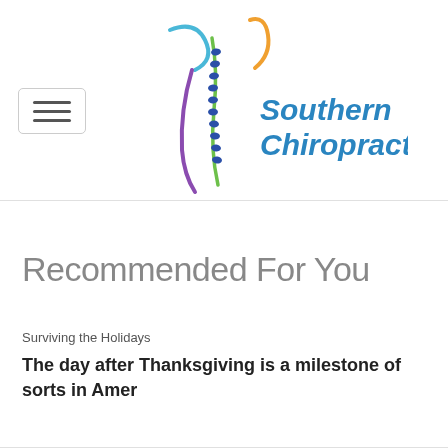[Figure (logo): Southern Chiropractic logo with colorful curved spine illustration and text 'Southern Chiropractic' in teal/blue]
Recommended For You
Surviving the Holidays
The day after Thanksgiving is a milestone of sorts in Amer